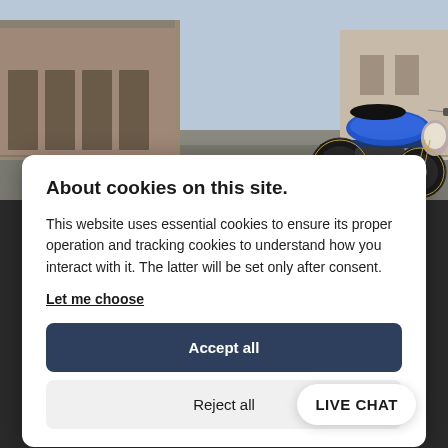[Figure (photo): A blue sport/naked motorcycle parked on a wide urban street with warehouse-style buildings in the background. The motorcycle is positioned on the right side of the image facing left.]
About cookies on this site.
This website uses essential cookies to ensure its proper operation and tracking cookies to understand how you interact with it. The latter will be set only after consent.
Let me choose
Accept all
Reject all
LIVE CHAT